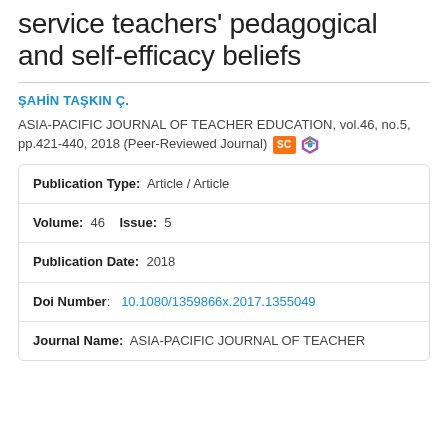service teachers' pedagogical and self-efficacy beliefs
ŞAHİN TAŞKIN Ç.
ASIA-PACIFIC JOURNAL OF TEACHER EDUCATION, vol.46, no.5, pp.421-440, 2018 (Peer-Reviewed Journal)
| Field | Value |
| --- | --- |
| Publication Type: | Article / Article |
| Volume: | 46   Issue:  5 |
| Publication Date: | 2018 |
| Doi Number: | 10.1080/1359866x.2017.1355049 |
| Journal Name: | ASIA-PACIFIC JOURNAL OF TEACHER |